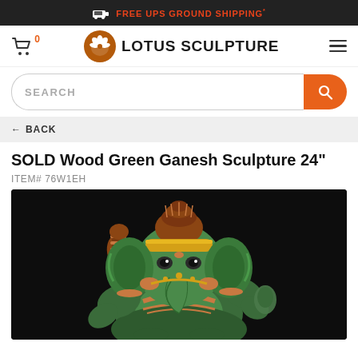FREE UPS GROUND SHIPPING*
[Figure (logo): Lotus Sculpture logo with cart icon and hamburger menu]
[Figure (other): Search bar with orange search button]
← BACK
SOLD Wood Green Ganesh Sculpture 24"
ITEM# 76W1EH
[Figure (photo): Green wood carved Ganesh sculpture with orange and red details on a black background]